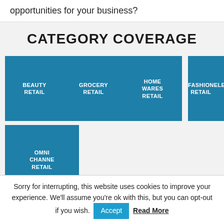opportunities for your business?
CATEGORY COVERAGE
[Figure (infographic): Category coverage tiles showing: BEAUTY RETAIL, GROCERY RETAIL, HOME WARES RETAIL, FASHION RETAIL, ELECTRONICS RETAIL, INTERNET SHOPPING, OMNI CHANNEL RETAIL]
Sorry for interrupting, this website uses cookies to improve your experience. We'll assume you're ok with this, but you can opt-out if you wish. Accept Read More